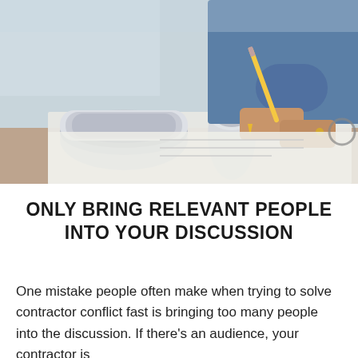[Figure (photo): A person writing on blueprints/plans at a desk, with rolled-up architectural drawings in the foreground. The person is wearing a blue shirt and holding a pencil, with glasses visible on the right side of the image.]
ONLY BRING RELEVANT PEOPLE INTO YOUR DISCUSSION
One mistake people often make when trying to solve contractor conflict fast is bringing too many people into the discussion. If there's an audience, your contractor is